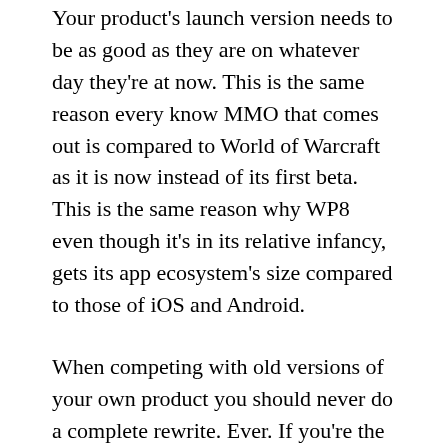Your product's launch version needs to be as good as they are on whatever day they're at now. This is the same reason every know MMO that comes out is compared to World of Warcraft as it is now instead of its first beta. This is the same reason why WP8 even though it's in its relative infancy, gets its app ecosystem's size compared to those of iOS and Android.
When competing with old versions of your own product you should never do a complete rewrite. Ever. If you're the person that knows everything about the current codebase then you'll be performing refactoring, which is completely different. Else you're most likely just being ever eager and refusing to deal with